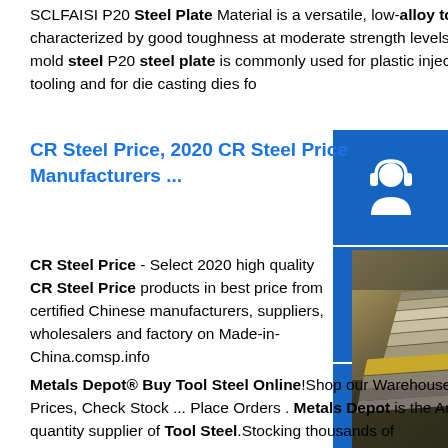SCLFAISI P20 Steel Plate Material is a versatile, low-alloy tool steel that is characterized by good toughness at moderate strength levels. The special purpose mold steel P20 steel plate is commonly used for plastic injection mold cavities and tooling and for die casting dies fo...
CR Steel Price, 2020 CR Steel Price Manufacturers ...
CR Steel Price - Select 2020 high quality CR Steel Price products in best price from certified Chinese manufacturers, suppliers, wholesalers and factory on Made-in-China.comsp.info
[Figure (photo): Stack of steel plates/sheets in industrial setting, outdoors]
Metals Depot® Buy Tool Steel Online!Shop our Warehouse for Tool Steel Get Prices, Check Stock ... Place Orders . Metals Depot is the America's Largest, small quantity supplier of Tool Steel.Stocking thousands of